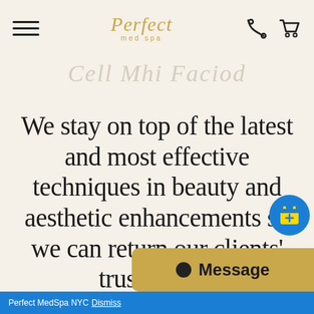[Figure (logo): Perfect Med Spa logo with golden italic script text and 'med spa' subtitle, plus hamburger menu icon and phone/cart icons in header]
[Figure (illustration): Decorative cursive/calligraphic script watermark text reading 'Cell Med Faciod' or similar in light gray]
We stay on top of the latest and most effective techniques in beauty and aesthetic enhancements so we can return our clients' trust in full.
[Figure (infographic): Blue circular floating button with yellow calendar/plus icon]
[Figure (infographic): Gold/tan rounded message bar at bottom right with chat dot icon and 'Message' text]
Perfect MedSpa NYC Dismiss